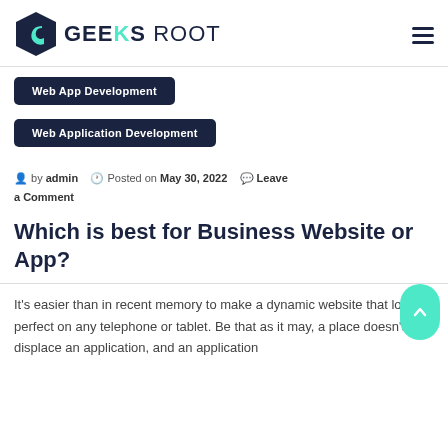GEEKS ROOT
Web App Development
Web Application Development
by admin   Posted on May 30, 2022   Leave a Comment
Which is best for Business Website or App?
It’s easier than in recent memory to make a dynamic website that looks perfect on any telephone or tablet. Be that as it may, a place doesn’t displace an application, and an application